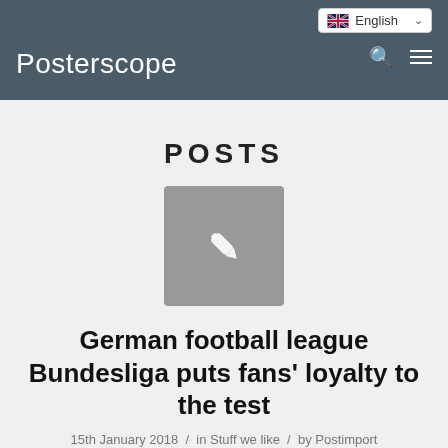Posterscope
POSTS
[Figure (illustration): Gray square icon with a white pencil/edit icon in the center]
German football league Bundesliga puts fans' loyalty to the test
15th January 2018 / in Stuff we like / by Postimport